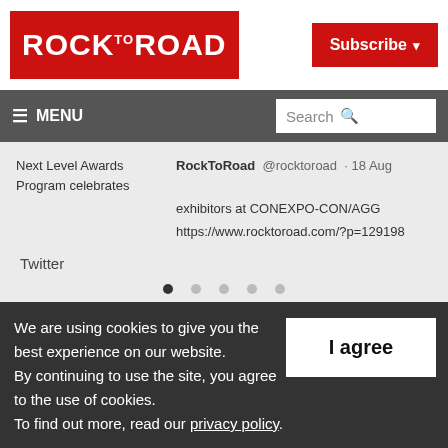ROCK TO ROAD
Subscribe
MENU  Search
Next Level Awards Program celebrates  RockToRoad @rocktoroad · 18 Aug exhibitors at CONEXPO-CON/AGG https://www.rocktoroad.com/?p=129198
Twitter
We are using cookies to give you the best experience on our website. By continuing to use the site, you agree to the use of cookies. To find out more, read our privacy policy.
I agree